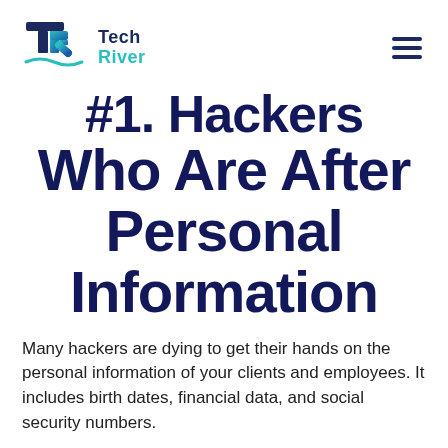Tech River
#1. Hackers Who Are After Personal Information
Many hackers are dying to get their hands on the personal information of your clients and employees. It includes birth dates, financial data, and social security numbers.